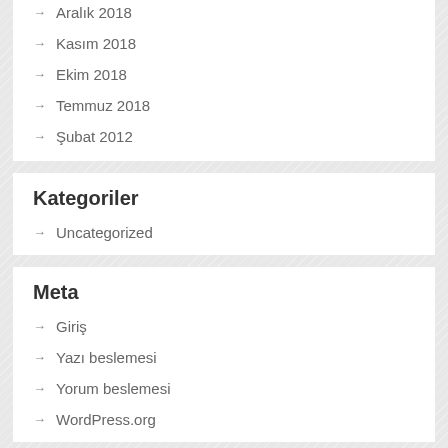Aralık 2018
Kasım 2018
Ekim 2018
Temmuz 2018
Şubat 2012
Kategoriler
Uncategorized
Meta
Giriş
Yazı beslemesi
Yorum beslemesi
WordPress.org